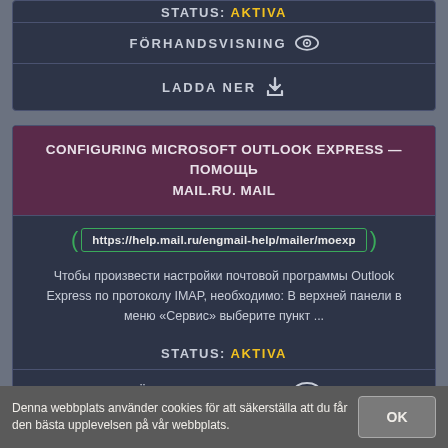STATUS: AKTIVA
FÖRHANDSVISNING
LADDA NER
CONFIGURING MICROSOFT OUTLOOK EXPRESS — ПОМОЩЬ MAIL.RU. MAIL
https://help.mail.ru/engmail-help/mailer/moexp
Чтобы произвести настройки почтовой программы Outlook Express по протоколу IMAP, необходимо: В верхней панели в меню «Сервис» выберите пункт ...
STATUS: AKTIVA
FÖRHANDSVISNING
Denna webbplats använder cookies för att säkerställa att du får den bästa upplevelsen på vår webbplats.